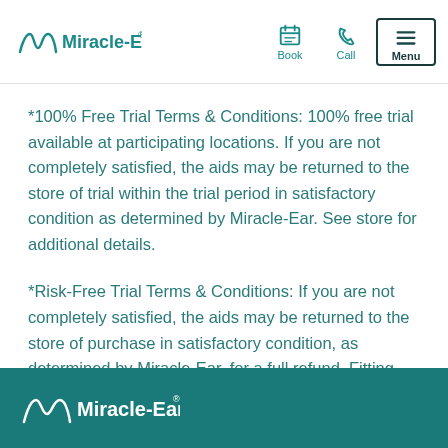Miracle-Ear | Book | Call | Menu
*100% Free Trial Terms & Conditions: 100% free trial available at participating locations. If you are not completely satisfied, the aids may be returned to the store of trial within the trial period in satisfactory condition as determined by Miracle-Ear. See store for additional details.
*Risk-Free Trial Terms & Conditions: If you are not completely satisfied, the aids may be returned to the store of purchase in satisfactory condition, as determined by Miracle-Ear, for a full refund. Fitting fees may apply. See store for additional details.
Miracle-Ear